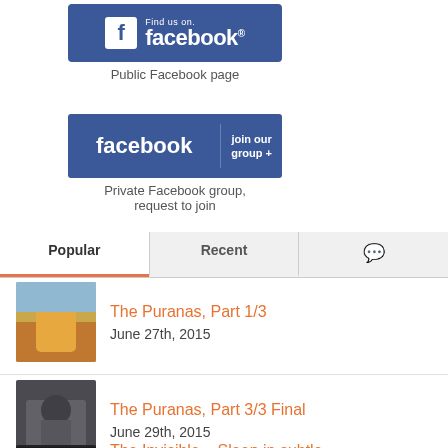[Figure (logo): Facebook 'Find us on Facebook' page badge - blue box with f icon and facebook wordmark]
Public Facebook page
[Figure (logo): Facebook 'join our group +' blue banner with facebook wordmark and join our group text]
Private Facebook group, request to join
Popular | Recent | [comment icon]
The Puranas, Part 1/3 — June 27th, 2015
The Puranas, Part 3/3 Final — June 29th, 2015
The Invisible – Sleep in subtle